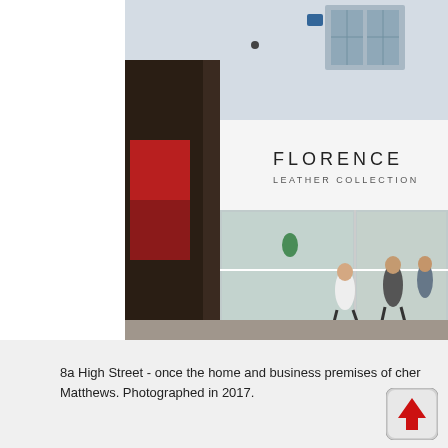[Figure (photo): Street-level photograph of a shop storefront showing 'Florence Leather Collection' signage on a white fascia. Dark-clad shopfront adjacent on the left. Shop windows display merchandise. Pedestrians visible on the pavement in front. Upper floors show white rendered building with sash windows. Photograph taken in 2017.]
8a High Street - once the home and business premises of cher Matthews. Photographed in 2017.